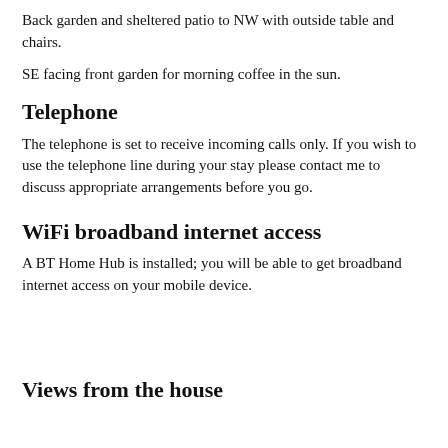Back garden and sheltered patio to NW with outside table and chairs.
SE facing front garden for morning coffee in the sun.
Telephone
The telephone is set to receive incoming calls only. If you wish to use the telephone line during your stay please contact me to discuss appropriate arrangements before you go.
WiFi broadband internet access
A BT Home Hub is installed; you will be able to get broadband internet access on your mobile device.
Views from the house